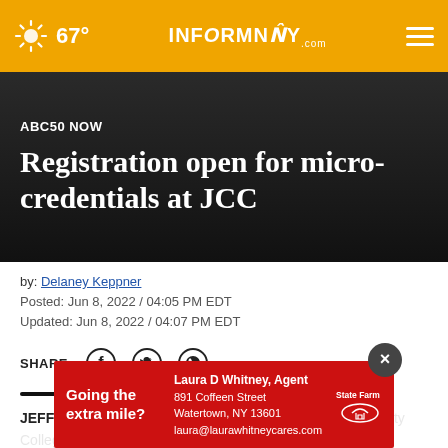67° INFORMNNY.com
ABC50 NOW
Registration open for micro-credentials at JCC
by: Delaney Keppner
Posted: Jun 8, 2022 / 04:05 PM EDT
Updated: Jun 8, 2022 / 04:07 PM EDT
SHARE
JEFFERSON COUNTY, N.Y. (WWTI) — Jefferson Community College is offering micro-credential classes for the fall 2022 semester, and registration
[Figure (infographic): State Farm advertisement overlay: 'Going the extra mile?' with agent Laura D Whitney details, 891 Coffeen Street, Watertown NY 13601, laura@laurawhitneycares.com]